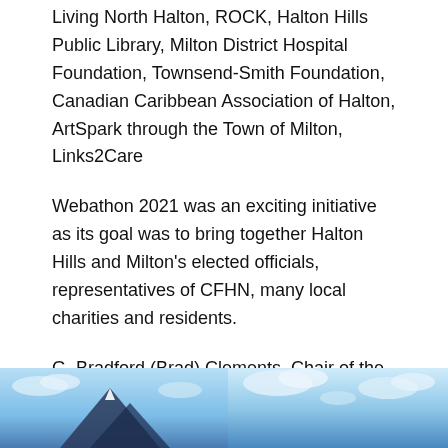Living North Halton, ROCK, Halton Hills Public Library, Milton District Hospital Foundation, Townsend-Smith Foundation, Canadian Caribbean Association of Halton, ArtSpark through the Town of Milton, Links2Care
Webathon 2021 was an exciting initiative as its goal was to bring together Halton Hills and Milton's elected officials, representatives of CFHN, many local charities and residents.
G. Bradford (Brad) Clements, Chair of the CFHN board, was enthusiastic about the event, which marks CFHN's 10 years. "The Board of CFHN was pleased to lead this first ever Webathon that will provide support to many charities serving Halton Hills and Milton."
[Figure (photo): Two side-by-side photographs at the bottom of the page showing mountain and sky scenes with blue tones.]